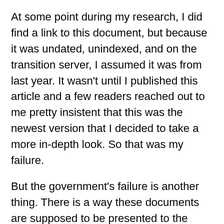At some point during my research, I did find a link to this document, but because it was undated, unindexed, and on the transition server, I assumed it was from last year. It wasn't until I published this article and a few readers reached out to me pretty insistent that this was the newest version that I decided to take a more in-depth look. So that was my failure.
But the government's failure is another thing. There is a way these documents are supposed to be presented to the public. The FCC specifically lists on its Rulemaking Process page how draft rules are presented:
To read rulemaking documents or comments